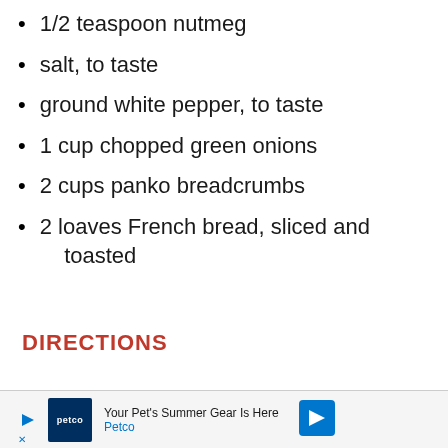1/2 teaspoon nutmeg
salt, to taste
ground white pepper, to taste
1 cup chopped green onions
2 cups panko breadcrumbs
2 loaves French bread, sliced and toasted
DIRECTIONS
[Figure (other): Petco advertisement banner: 'Your Pet's Summer Gear Is Here' with Petco logo and navigation arrow icon]